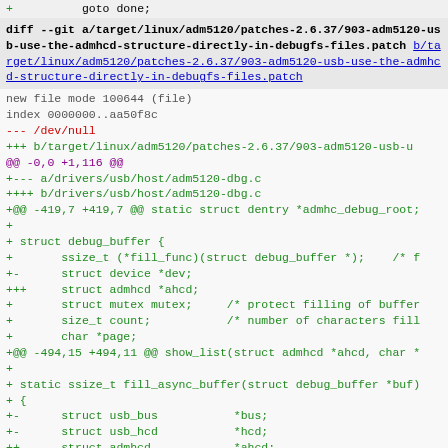+          goto done;
diff --git a/target/linux/adm5120/patches-2.6.37/903-adm5120-usb-use-the-admhcd-structure-directly-in-debugfs-files.patch b/target/linux/adm5120/patches-2.6.37/903-adm5120-usb-use-the-admhcd-structure-directly-in-debugfs-files.patch
new file mode 100644 (file)
index 0000000..aa50f8c
--- /dev/null
+++ b/target/linux/adm5120/patches-2.6.37/903-adm5120-usb-
@@ -0,0 +1,116 @@
+--- a/drivers/usb/host/adm5120-dbg.c
++++ b/drivers/usb/host/adm5120-dbg.c
+@@ -419,7 +419,7 @@ static struct dentry *admhc_debug_root;
+
+ struct debug_buffer {
+       ssize_t (*fill_func)(struct debug_buffer *);    /* f
+-      struct device *dev;
+++     struct admhcd *ahcd;
+       struct mutex mutex;     /* protect filling of buffer
+       size_t count;           /* number of characters fill
+       char *page;
+@@ -494,15 +494,11 @@ show_list(struct admhcd *ahcd, char *
+
+ static ssize_t fill_async_buffer(struct debug_buffer *buf)
+ {
+-      struct usb_bus           *bus;
+-      struct usb_hcd           *hcd;
++      struct admhcd            *ahcd;
+       size_t                   temp;
+       unsigned long            flags;